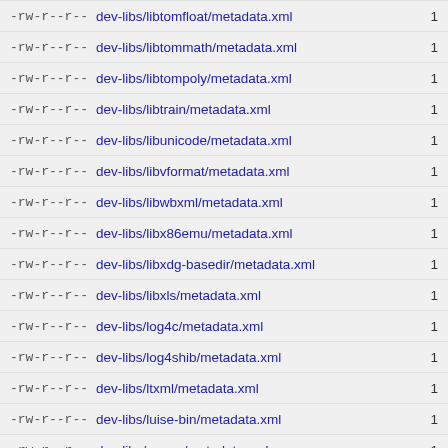-rw-r--r--  dev-libs/libtomfloat/metadata.xml  1
-rw-r--r--  dev-libs/libtommath/metadata.xml  1
-rw-r--r--  dev-libs/libtompoly/metadata.xml  1
-rw-r--r--  dev-libs/libtrain/metadata.xml  1
-rw-r--r--  dev-libs/libunicode/metadata.xml  1
-rw-r--r--  dev-libs/libvformat/metadata.xml  1
-rw-r--r--  dev-libs/libwbxml/metadata.xml  1
-rw-r--r--  dev-libs/libx86emu/metadata.xml  1
-rw-r--r--  dev-libs/libxdg-basedir/metadata.xml  1
-rw-r--r--  dev-libs/libxls/metadata.xml  1
-rw-r--r--  dev-libs/log4c/metadata.xml  1
-rw-r--r--  dev-libs/log4shib/metadata.xml  1
-rw-r--r--  dev-libs/ltxml/metadata.xml  1
-rw-r--r--  dev-libs/luise-bin/metadata.xml  1
-rw-r--r--  dev-libs/mapm/metadata.xml  1
-rw-r--r--  dev-libs/mdsplib/metadata.xml  1
-rw-r--r--  dev-libs/mm/metadata.xml  1
-rw-r--r--  dev-libs/openobex/metadata.xml  1